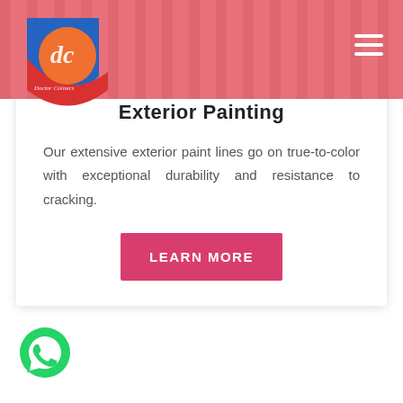[Figure (logo): Doctor Colours circular logo with blue and red background and stylized 'dc' script lettering in orange circle]
[Figure (other): Hamburger menu icon (three white horizontal bars) in top-right of pink navigation bar]
Exterior Painting
Our extensive exterior paint lines go on true-to-color with exceptional durability and resistance to cracking.
LEARN MORE
[Figure (logo): Green WhatsApp icon in bottom-left corner]